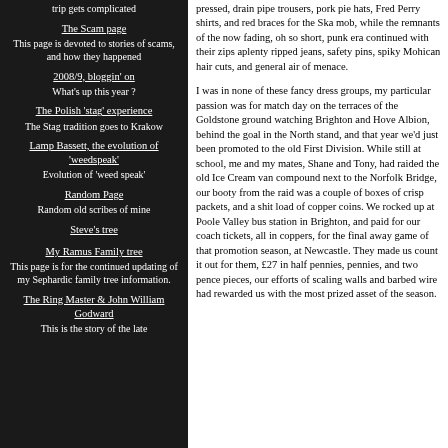trip gets complicated
The Scam page
This page is devoted to stories of scams, and how they happened
2008/9, bloggin' on
What's up this year ?
The Polish 'stag' experience
The Stag tradition goes to Krakow
Lamp Bassett, the evolution of 'weedspeak'
Evolution of 'weed speak'
Random Page
Random old scribes of mine
Steve's tree
My Ramus Family tree
This page is for the continued updating of my Sephardic family tree information.
The Ring Master & John William Godward
This is the story of the late
pressed, drain pipe trousers, pork pie hats, Fred Perry shirts, and red braces for the Ska mob, while the remnants of the now fading, oh so short, punk era continued with their zips aplenty ripped jeans, safety pins, spiky Mohican hair cuts, and general air of menace.
I was in none of these fancy dress groups, my particular passion was for match day on the terraces of the Goldstone ground watching Brighton and Hove Albion, behind the goal in the North stand, and that year we'd just been promoted to the old First Division. While still at school, me and my mates, Shane and Tony, had raided the old Ice Cream van compound next to the Norfolk Bridge, our booty from the raid was a couple of boxes of crisp packets, and a shit load of copper coins. We rocked up at Poole Valley bus station in Brighton, and paid for our coach tickets, all in coppers, for the final away game of that promotion season, at Newcastle. They made us count it out for them, £27 in half pennies, pennies, and two pence pieces, our efforts of scaling walls and barbed wire had rewarded us with the most prized asset of the season.